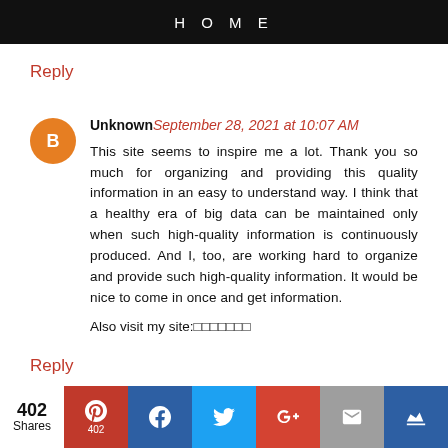HOME
Reply
Unknown September 28, 2021 at 10:07 AM
This site seems to inspire me a lot. Thank you so much for organizing and providing this quality information in an easy to understand way. I think that a healthy era of big data can be maintained only when such high-quality information is continuously produced. And I, too, are working hard to organize and provide such high-quality information. It would be nice to come in once and get information.

Also visit my site:□□□□□□□
Reply
402 Shares